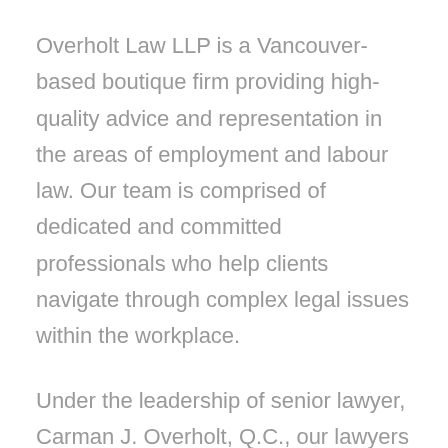Overholt Law LLP is a Vancouver-based boutique firm providing high-quality advice and representation in the areas of employment and labour law. Our team is comprised of dedicated and committed professionals who help clients navigate through complex legal issues within the workplace.
Under the leadership of senior lawyer, Carman J. Overholt, Q.C., our lawyers have built a solid reputation and proven track record for resolving employment and other legal disputes. We leverage our knowledge and skill as experienced litigators to deliver fair, effective solutions to...